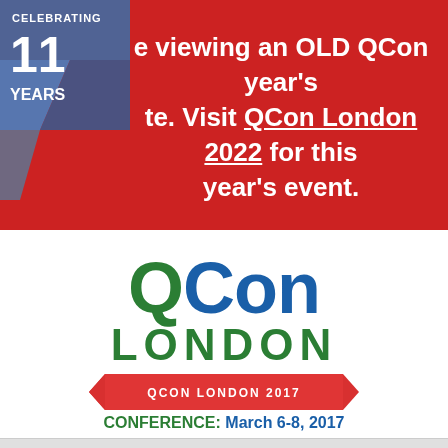[Figure (logo): QCon London logo with 'Celebrating 11 Years' badge on blue/grey diamond shape top-left]
e viewing an OLD QCon year's te. Visit QCon London 2022 for this year's event.
[Figure (logo): QCon London logo — 'QCon' in green/blue large text, 'LONDON' in green bold below]
[Figure (infographic): Red ribbon/banner shape with text 'QCON LONDON 2017']
CONFERENCE: March 6-8, 2017